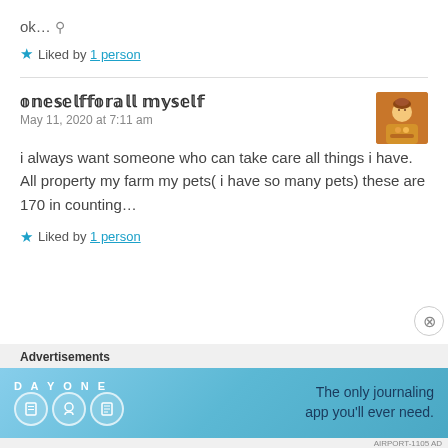ok... 📍
Liked by 1 person
𝕠𝕟𝕖𝕤𝕖𝕝𝕗𝕗𝕠𝕣𝕒𝕝𝕝 𝕞𝕪𝕤𝕖𝕝𝕗
May 11, 2020 at 7:11 am
i always want someone who can take care all things i have. All property my farm my pets( i have so many pets) these are 170 in counting…
Liked by 1 person
[Figure (screenshot): Advertisement banner for Day One journaling app with text: The only journaling app you'll ever need.]